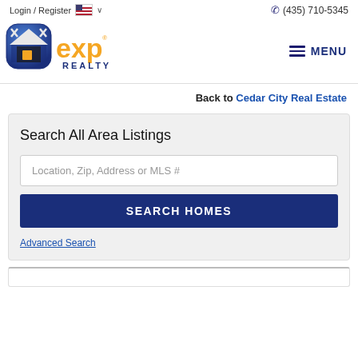Login / Register  🇺🇸 ∨        ☎ (435) 710-5345
[Figure (logo): eXp Realty logo with blue shield/house icon and orange 'exp' text with 'REALTY' below, plus hamburger MENU icon on right]
Back to Cedar City Real Estate
Search All Area Listings
Location, Zip, Address or MLS #
SEARCH HOMES
Advanced Search